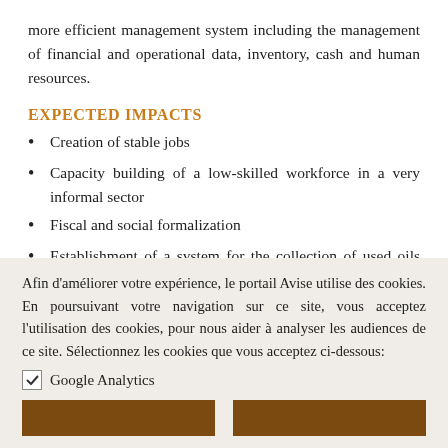more efficient management system including the management of financial and operational data, inventory, cash and human resources.
EXPECTED IMPACTS
Creation of stable jobs
Capacity building of a low-skilled workforce in a very informal sector
Fiscal and social formalization
Establishment of a system for the collection of used oils and a system for the recycling of used
Afin d'améliorer votre expérience, le portail Avise utilise des cookies. En poursuivant votre navigation sur ce site, vous acceptez l'utilisation des cookies, pour nous aider à analyser les audiences de ce site. Sélectionnez les cookies que vous acceptez ci-dessous:
Google Analytics